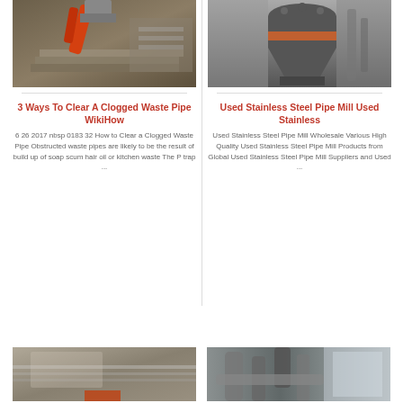[Figure (photo): Industrial machinery with orange robotic arm working on stone/concrete slabs in a workshop]
[Figure (photo): Large industrial cone crusher or mill machine in a factory setting, gray with orange band]
3 Ways To Clear A Clogged Waste Pipe WikiHow
Used Stainless Steel Pipe Mill Used Stainless
6 26 2017 nbsp 0183 32 How to Clear a Clogged Waste Pipe Obstructed waste pipes are likely to be the result of build up of soap scum hair oil or kitchen waste The P trap ...
Used Stainless Steel Pipe Mill Wholesale Various High Quality Used Stainless Steel Pipe Mill Products from Global Used Stainless Steel Pipe Mill Suppliers and Used ...
[Figure (photo): Industrial metal sheet or machinery component close-up, gray metallic surface]
[Figure (photo): Industrial pipes and ductwork inside a factory or plant, overhead view]